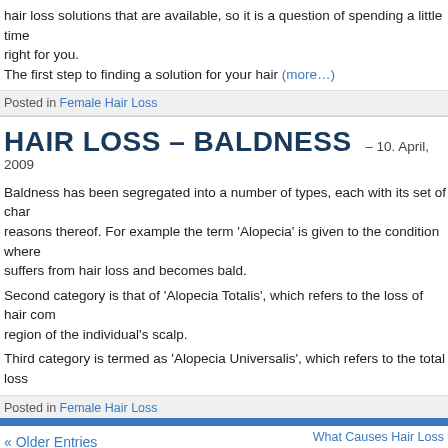hair loss solutions that are available, so it is a question of spending a little time right for you. The first step to finding a solution for your hair (more…)
Posted in Female Hair Loss
HAIR LOSS – BALDNESS – 10. April, 2009
Baldness has been segregated into a number of types, each with its set of characteristics and reasons thereof. For example the term 'Alopecia' is given to the condition where suffers from hair loss and becomes bald.
Second category is that of 'Alopecia Totalis', which refers to the loss of hair completely from the region of the individual's scalp.
Third category is termed as 'Alopecia Universalis', which refers to the total loss
Posted in Female Hair Loss
« Older Entries
What Causes Hair Loss